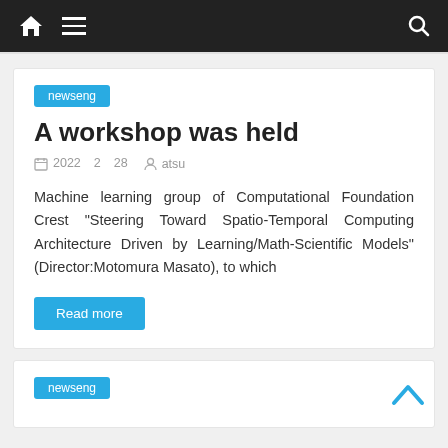Home Menu Search
newseng
A workshop was held
2022 2 28   atsu
Machine learning group of Computational Foundation Crest "Steering Toward Spatio-Temporal Computing Architecture Driven by Learning/Math-Scientific Models" (Director:Motomura Masato), to which
Read more
newseng